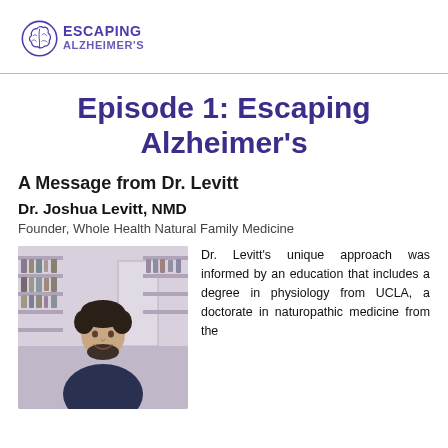[Figure (logo): Escaping Alzheimer's podcast logo with brain icon and text]
Episode 1: Escaping Alzheimer's
A Message from Dr. Levitt
Dr. Joshua Levitt, NMD
Founder, Whole Health Natural Family Medicine
[Figure (photo): Photo of Dr. Joshua Levitt, a man with curly dark hair and beard, smiling with arms crossed, standing in front of shelves with bottles]
Dr. Levitt's unique approach was informed by an education that includes a degree in physiology from UCLA, a doctorate in naturopathic medicine from the